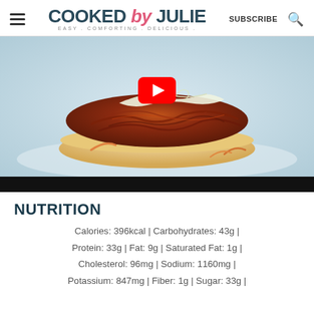COOKED by JULIE — EASY. COMFORTING. DELICIOUS. | SUBSCRIBE
[Figure (photo): Close-up photo of a BBQ pulled chicken sandwich with coleslaw on a white bun, with a YouTube play button overlay and a black video control bar at the bottom.]
NUTRITION
Calories: 396kcal | Carbohydrates: 43g | Protein: 33g | Fat: 9g | Saturated Fat: 1g | Cholesterol: 96mg | Sodium: 1160mg | Potassium: 847mg | Fiber: 1g | Sugar: 33g |